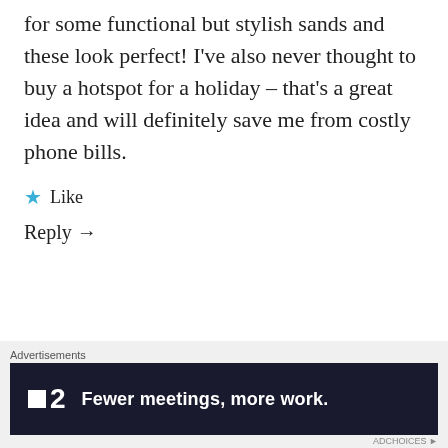for some functional but stylish sands and these look perfect! I've also never thought to buy a hotspot for a holiday – that's a great idea and will definitely save me from costly phone bills.
★ Like
Reply →
LOVESHETRAVELS
8th Mar 2019 at 7:40 am
Thanks for reading, I'm glad you found
Advertisements
■2  Fewer meetings, more work.